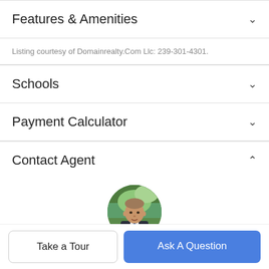Features & Amenities
Listing courtesy of Domainrealty.Com Llc: 239-301-4301.
Schools
Payment Calculator
Contact Agent
[Figure (photo): Circular headshot of real estate agent Joey Mulloy in a suit outdoors]
Joey Mulloy
Take a Tour
Ask A Question